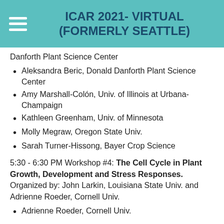ICAR 2021- VIRTUAL (FORMERLY SEATTLE)
Danforth Plant Science Center
Aleksandra Beric, Donald Danforth Plant Science Center
Amy Marshall-Colón, Univ. of Illinois at Urbana-Champaign
Kathleen Greenham, Univ. of Minnesota
Molly Megraw, Oregon State Univ.
Sarah Turner-Hissong, Bayer Crop Science
5:30 - 6:30 PM Workshop #4: The Cell Cycle in Plant Growth, Development and Stress Responses. Organized by: John Larkin, Louisiana State Univ. and Adrienne Roeder, Cornell Univ.
Adrienne Roeder, Cornell Univ.